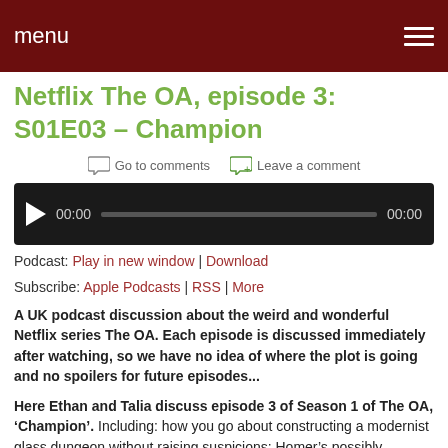menu
Netflix The OA, episode 3: S01E03 – Champion
Go to comments   Leave a comment
[Figure (other): Audio player with play button, time display 00:00, progress bar, and end time 00:00]
Podcast: Play in new window | Download
Subscribe: Apple Podcasts | RSS | More
A UK podcast discussion about the weird and wonderful Netflix series The OA. Each episode is discussed immediately after watching, so we have no idea of where the plot is going and no spoilers for future episodes...
Here Ethan and Talia discuss episode 3 of Season 1 of The OA, ‘Champion’. Including: how you go about constructing a modernist glass dungeon without raising suspicions; Homer’s possibly questionable taste in wolf sweatshirts; and whether having a dead girl in your bath is always an indication of a poor moral code.
New episodes published just as soon as we watch them (roughly